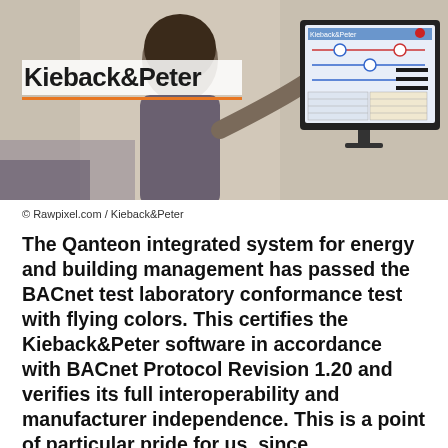[Figure (photo): Hero image showing a woman from behind working at a computer with a building management system interface on the screen. Kieback&Peter logo overlaid on image with orange underline. Hamburger menu icon in top right.]
© Rawpixel.com / Kieback&Peter
The Qanteon integrated system for energy and building management has passed the BACnet test laboratory conformance test with flying colors. This certifies the Kieback&Peter software in accordance with BACnet Protocol Revision 1.20 and verifies its full interoperability and manufacturer independence. This is a point of particular pride for us, since Kieback&Peter is the only company at present whose product has been